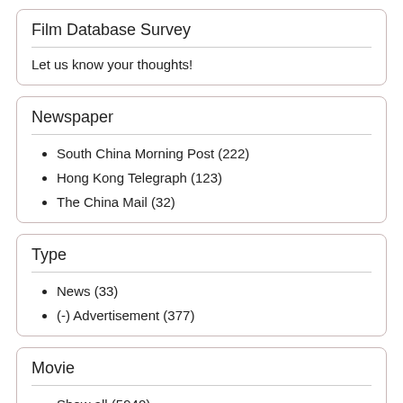Film Database Survey
Let us know your thoughts!
Newspaper
South China Morning Post (222)
Hong Kong Telegraph (123)
The China Mail (32)
Type
News (33)
(-) Advertisement (377)
Movie
Show all (5940)
Comic films (589)
British Gazette (398)
Comedy (325)